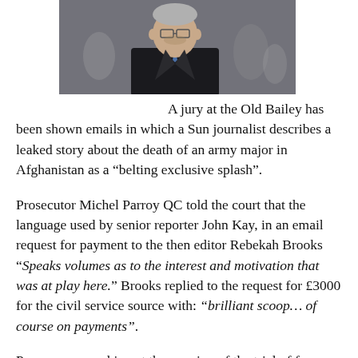[Figure (photo): A grey-haired man wearing glasses and a dark coat with a blue tie, photographed outdoors.]
A jury at the Old Bailey has been shown emails in which a Sun journalist describes a leaked story about the death of an army major in Afghanistan as a “belting exclusive splash”.
Prosecutor Michel Parroy QC told the court that the language used by senior reporter John Kay, in an email request for payment to the then editor Rebekah Brooks “Speaks volumes as to the interest and motivation that was at play here.” Brooks replied to the request for £3000 for the civil service source with: “brilliant scoop… of course on payments”.
Parroy was speaking at the opening of the trial of four Sun journalists, an army officer and his wife who are accused of conspiracy to commit misconduct in a public